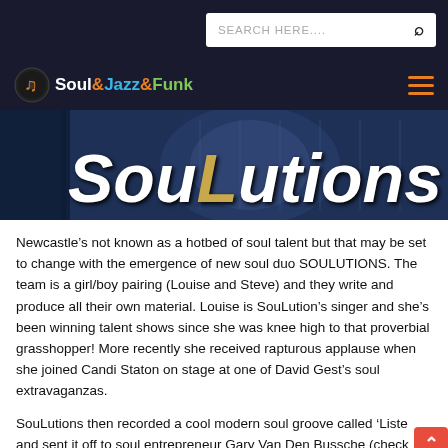SEARCH HERE....
[Figure (logo): Soul&Jazz&Funk website logo with music note icon and hamburger menu icon]
[Figure (photo): Banner image with microphone background and 'SouLutions' title text in white with golden L]
Newcastle’s not known as a hotbed of soul talent but that may be set to change with the emergence of new soul duo SOULUTIONS. The team is a girl/boy pairing (Louise and Steve) and they write and produce all their own material. Louise is SouLution’s singer and she’s been winning talent shows since she was knee high to that proverbial grasshopper! More recently she received rapturous applause when she joined Candi Staton on stage at one of David Gest’s soul extravaganzas.
SouLutions then recorded a cool modern soul groove called ‘Liste and sent it off to soul entrepreneur Gary Van Den Bussche (check